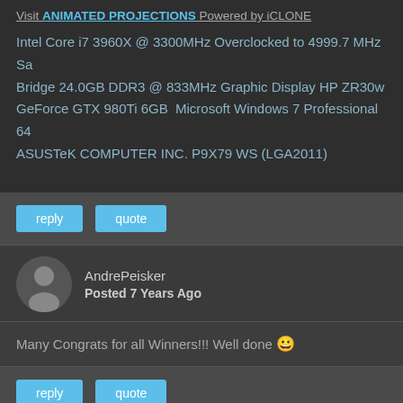Visit ANIMATED PROJECTIONS Powered by iCLONE
Intel Core i7 3960X @ 3300MHz Overclocked to 4999.7 MHz Sandy Bridge 24.0GB DDR3 @ 833MHz Graphic Display HP ZR30w GeForce GTX 980Ti 6GB Microsoft Windows 7 Professional 64 ASUSTeK COMPUTER INC. P9X79 WS (LGA2011)
reply | quote
AndrePeisker — Posted 7 Years Ago
Many Congrats for all Winners!!! Well done 🙂
reply | quote
mtakerkart